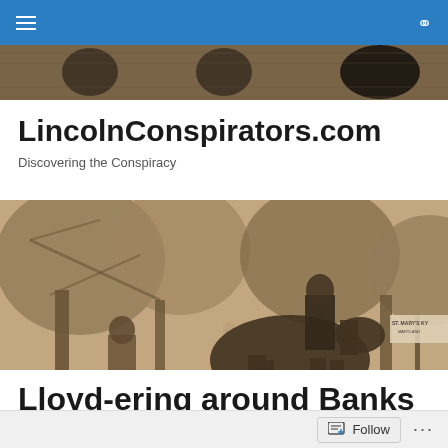LincolnConspirators.com navigation bar with hamburger menu and search icon
[Figure (photo): Sepia-toned strip at the top showing historical portrait photographs of people]
LincolnConspirators.com
Discovering the Conspiracy
[Figure (photo): Sepia-toned historical image depicting a scene with two men, a horse, and trees, with a sign reading 'ST MARY MARYLAND']
Lloyd-ering around Banks
Follow ...